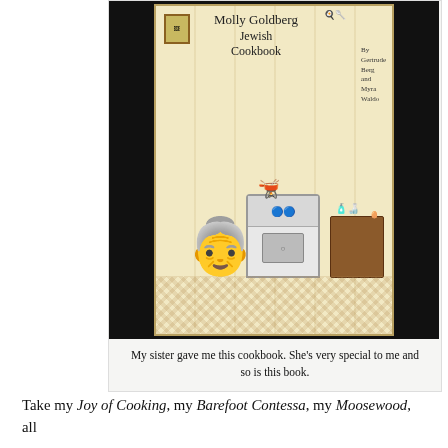[Figure (photo): Photo of the cover of the Molly Goldberg Jewish Cookbook, showing an illustrated woman cooking at a stove with the title text 'Molly Goldberg Jewish Cookbook By Gertrude Berg and Myra Waldo'. The book is photographed against a dark background.]
My sister gave me this cookbook. She's very special to me and so is this book.
Take my Joy of Cooking, my Barefoot Contessa, my Moosewood, all